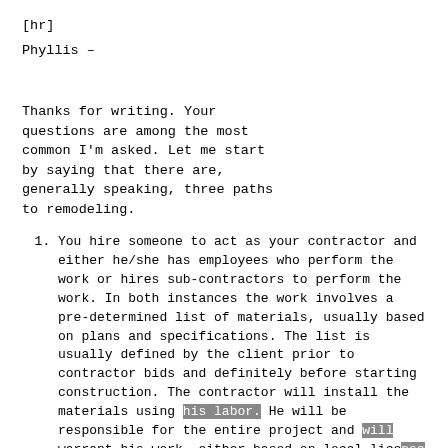[hr]
Phyllis –
Thanks for writing. Your questions are among the most common I'm asked. Let me start by saying that there are, generally speaking, three paths to remodeling.
You hire someone to act as your contractor and either he/she has employees who perform the work or hires sub-contractors to perform the work. In both instances the work involves a pre-determined list of materials, usually based on plans and specifications. The list is usually defined by the client prior to contractor bids and definitely before starting construction. The contractor will install the materials using his labor. He will be responsible for the entire project and will warrant his work, either based on local license laws or